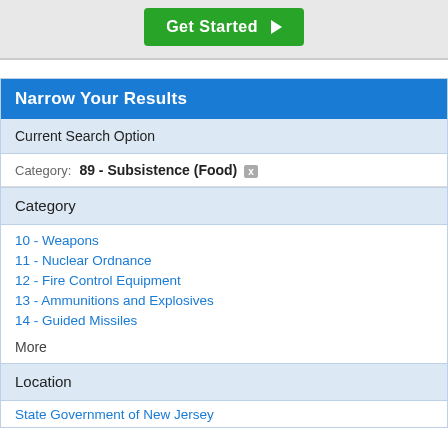[Figure (screenshot): Green 'Get Started' button with right-pointing arrow]
Narrow Your Results
Current Search Option
Category: 89 - Subsistence (Food) [x]
Category
10 - Weapons
11 - Nuclear Ordnance
12 - Fire Control Equipment
13 - Ammunitions and Explosives
14 - Guided Missiles
More
Location
State Government of New Jersey